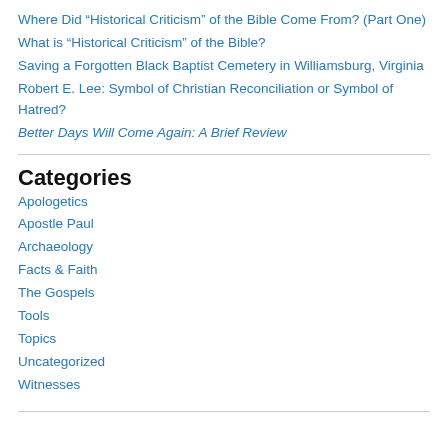Where Did “Historical Criticism” of the Bible Come From? (Part One)
What is “Historical Criticism” of the Bible?
Saving a Forgotten Black Baptist Cemetery in Williamsburg, Virginia
Robert E. Lee: Symbol of Christian Reconciliation or Symbol of Hatred?
Better Days Will Come Again: A Brief Review
Categories
Apologetics
Apostle Paul
Archaeology
Facts & Faith
The Gospels
Tools
Topics
Uncategorized
Witnesses